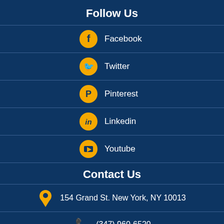Follow Us
Facebook
Twitter
Pinterest
Linkedin
Youtube
Contact Us
154 Grand St. New York, NY 10013
(347) 960-6520
drew@newyorkmotorinsurance.com